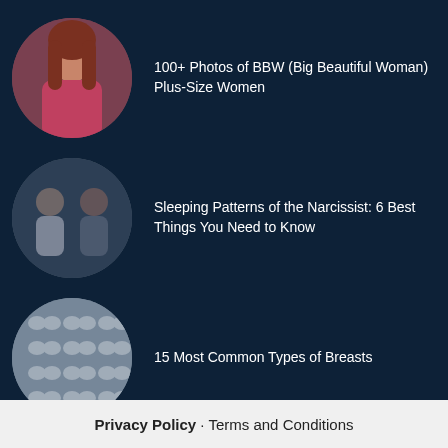100+ Photos of BBW (Big Beautiful Woman) Plus-Size Women
Sleeping Patterns of the Narcissist: 6 Best Things You Need to Know
15 Most Common Types of Breasts
Privacy Policy  ·  Terms and Conditions